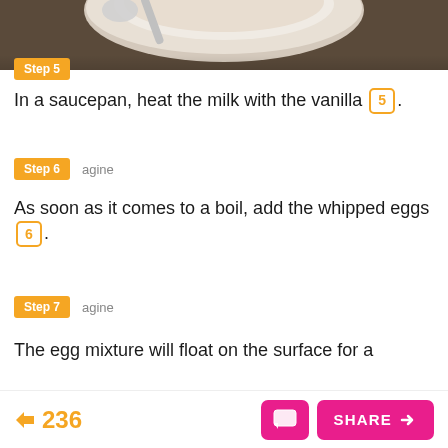[Figure (photo): Top portion of a bowl with a spoon visible, on a dark brown surface — cooking step photo]
Step 5
In a saucepan, heat the milk with the vanilla [5].
Step 6 agine
As soon as it comes to a boil, add the whipped eggs [6].
Step 7 agine
The egg mixture will float on the surface for a
236  SHARE